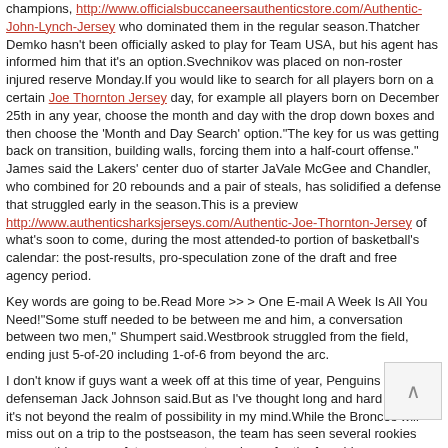champions, http://www.officialsbuccaneersauthenticstore.com/Authentic-John-Lynch-Jersey who dominated them in the regular season.Thatcher Demko hasn't been officially asked to play for Team USA, but his agent has informed him that it's an option.Svechnikov was placed on non-roster injured reserve Monday.If you would like to search for all players born on a certain Joe Thornton Jersey day, for example all players born on December 25th in any year, choose the month and day with the drop down boxes and then choose the 'Month and Day Search' option."The key for us was getting back on transition, building walls, forcing them into a half-court offense." James said the Lakers' center duo of starter JaVale McGee and Chandler, who combined for 20 rebounds and a pair of steals, has solidified a defense that struggled early in the season.This is a preview http://www.authenticsharksjerseys.com/Authentic-Joe-Thornton-Jersey of what's soon to come, during the most attended-to portion of basketball's calendar: the post-results, pro-speculation zone of the draft and free agency period.
Key words are going to be.Read More >> > One E-mail A Week Is All You Need!"Some stuff needed to be between me and him, a conversation between two men," Shumpert said.Westbrook struggled from the field, ending just 5-of-20 including 1-of-6 from beyond the arc.
I don't know if guys want a week off at this time of year, Penguins defenseman Jack Johnson said.But as I've thought long and hard about it , it's not beyond the realm of possibility in my mind.While the Broncos will miss out on a trip to the postseason, the team has seen several rookies emerge this year as future cornerstone pieces for the franchise.
admin  May 13, 2019  No Comments
Categories: John Lynch Jersey
Tags: Joe Thornton Jersey John Lynch Authentic Jersey